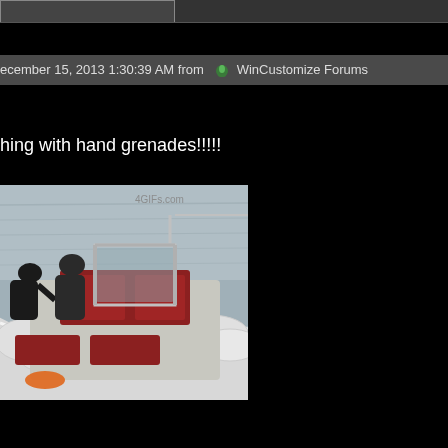December 15, 2013 1:30:39 AM from WinCustomize Forums
hing with hand grenades!!!!!
[Figure (photo): Photo of people on a white inflatable boat/RIB on water, watermark '4GIFs.com' in top right corner]